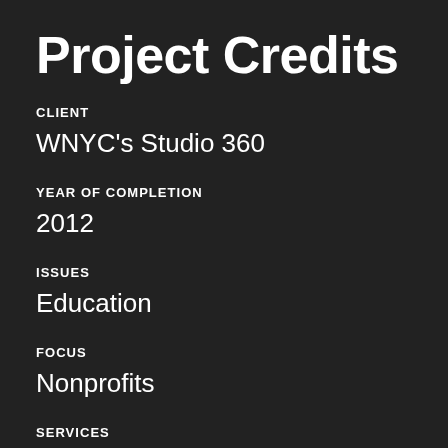Project Credits
CLIENT
WNYC's Studio 360
YEAR OF COMPLETION
2012
ISSUES
Education
FOCUS
Nonprofits
SERVICES
Brand Strategy